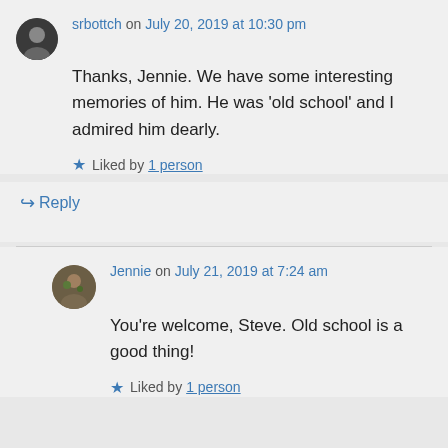srbottch on July 20, 2019 at 10:30 pm
Thanks, Jennie. We have some interesting memories of him. He was 'old school' and I admired him dearly.
Liked by 1 person
Reply
Jennie on July 21, 2019 at 7:24 am
You're welcome, Steve. Old school is a good thing!
Liked by 1 person